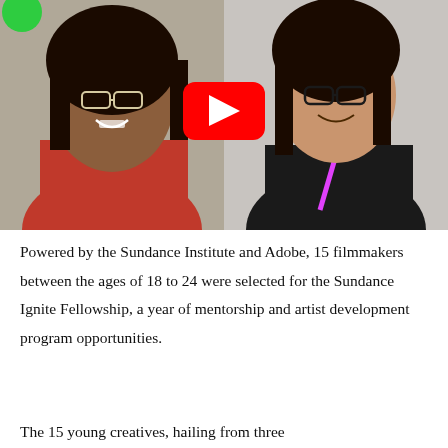[Figure (photo): Two young women smiling outdoors, side by side. The woman on the left wears a red coat and glasses with curly dark hair. The woman on the right wears a black jacket with a pink lanyard and glasses. A red YouTube play button icon is overlaid in the center of the image. A small green circle is partially visible in the top-left corner.]
Powered by the Sundance Institute and Adobe, 15 filmmakers between the ages of 18 to 24 were selected for the Sundance Ignite Fellowship, a year of mentorship and artist development program opportunities.
The 15 young creatives, hailing from three